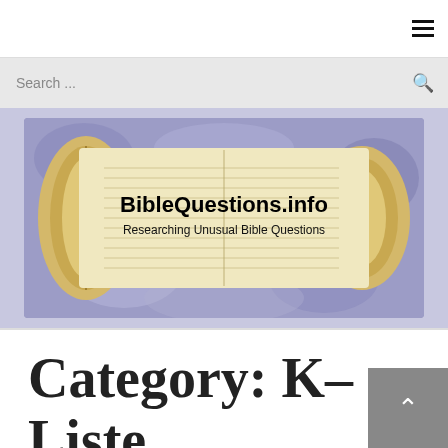Navigation menu (hamburger icon)
Search ...
[Figure (illustration): BibleQuestions.info website banner showing an ancient Torah scroll unrolled on a purple/blue mottled background. Text overlay reads: BibleQuestions.info, Researching Unusual Bible Questions.]
Category: K-Liste